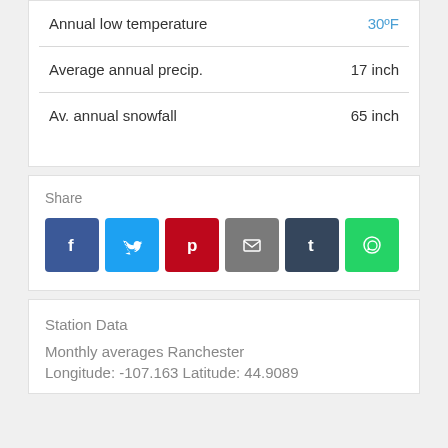|  |  |
| --- | --- |
| Annual low temperature | 30ºF |
| Average annual precip. | 17 inch |
| Av. annual snowfall | 65 inch |
Share
[Figure (infographic): Social share buttons: Facebook, Twitter, Pinterest, Email, Tumblr, WhatsApp]
Station Data
Monthly averages Ranchester
Longitude: -107.163  Latitude: 44.9089